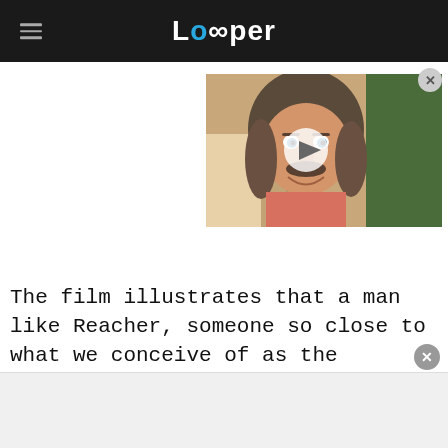Looper
[Figure (photo): A man with long hair and a mustache smiling, with a play button overlay indicating a video thumbnail]
The film illustrates that a man like Reacher, someone so close to what we conceive of as the